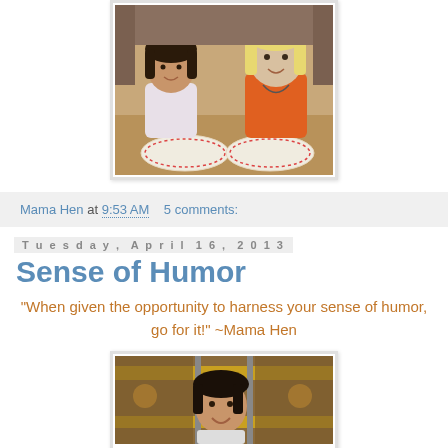[Figure (photo): Two girls sitting at a table with plates, one in white shirt and one in orange sweater, smiling at camera]
Mama Hen at 9:53 AM   5 comments:
Tuesday, April 16, 2013
Sense of Humor
"When given the opportunity to harness your sense of humor, go for it!" ~Mama Hen
[Figure (photo): Young child smiling on what appears to be a carousel or amusement ride, with decorative elements in background]